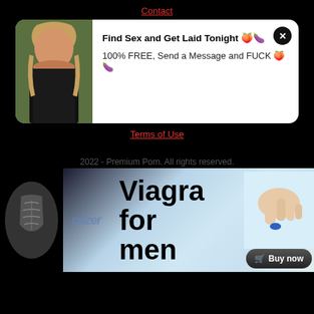Contact
[Figure (screenshot): Pop-up ad showing a woman photo on left with text: Find Sex and Get Laid Tonight 🍑🍆 / 100% FREE, Send a Message and FUCK 🍑🍆, and an X close button]
Terms of Use
2022 - Premium Porn. All rights reserved.
[Figure (advertisement): Viagra for men advertisement banner with Pfizer logo, muscular male torso on left, hand holding blue pill on right, and Buy now button]